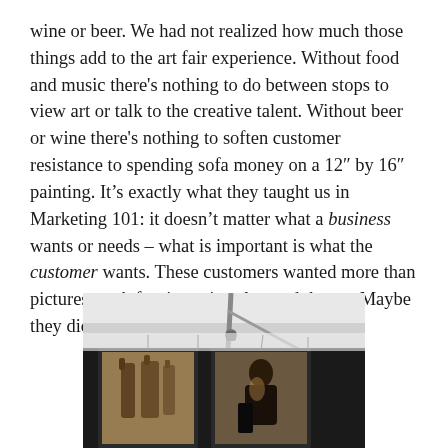wine or beer. We had not realized how much those things add to the art fair experience. Without food and music there's nothing to do between stops to view art or talk to the creative talent. Without beer or wine there's nothing to soften customer resistance to spending sofa money on a 12" by 16" painting. It's exactly what they taught us in Marketing 101: it doesn't matter what a business wants or needs – what is important is what the customer wants. These customers wanted more than pictures, rock furniture, jewelry, and drums. Maybe they didn't want those things at all.
[Figure (photo): A photo of an art fair booth showing two framed paintings hanging under a white tent, viewed from below. The left painting shows bottles, the right painting shows a figure.]